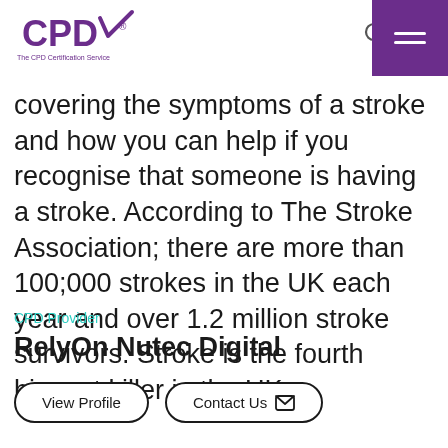CPD — The CPD Certification Service [logo] | Search | Menu
covering the symptoms of a stroke and how you can help if you recognise that someone is having a stroke. According to The Stroke Association; there are more than 100;000 strokes in the UK each year and over 1.2 million stroke survivors. Stroke is the fourth biggest killer in the UK.
CPD Provider
RelyOn Nutec Digital
View Profile | Contact Us